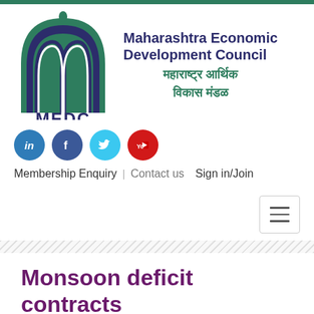[Figure (logo): MEDC logo with arch/dome shape in green and navy, with 'MEDC' text below, alongside organization name in English and Marathi]
[Figure (infographic): Social media icons row: LinkedIn (blue), Facebook (dark blue), Twitter (cyan), YouTube (red)]
Membership Enquiry   Contact us   Sign in/Join
[Figure (other): Hamburger menu button (three horizontal lines) in a rounded rectangle]
Monsoon deficit contracts